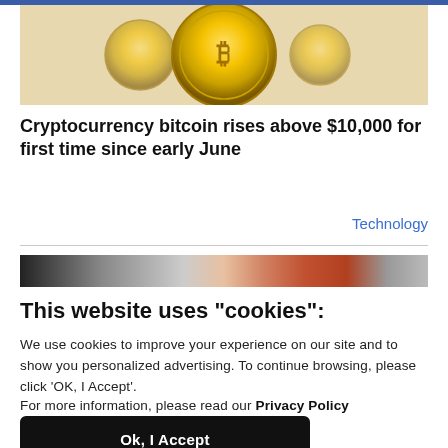[Figure (photo): Close-up photo of a gold Bitcoin coin]
Cryptocurrency bitcoin rises above $10,000 for first time since early June
Technology
[Figure (photo): A blurred banner image showing people in the background]
This website uses "cookies":
We use cookies to improve your experience on our site and to show you personalized advertising. To continue browsing, please click 'OK, I Accept'.
For more information, please read our Privacy Policy
Ok, I Accept